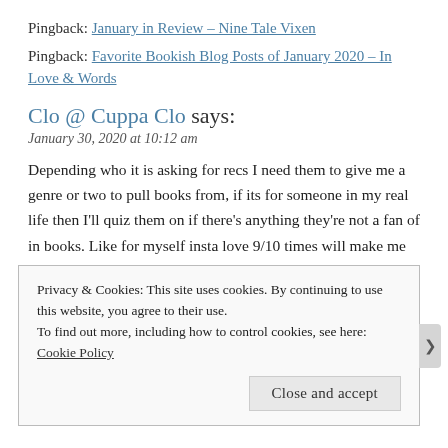Pingback: January in Review – Nine Tale Vixen
Pingback: Favorite Bookish Blog Posts of January 2020 – In Love & Words
Clo @ Cuppa Clo says:
January 30, 2020 at 10:12 am
Depending who it is asking for recs I need them to give me a genre or two to pull books from, if its for someone in my real life then I'll quiz them on if there's anything they're not a fan of in books. Like for myself insta love 9/10 times will make me DNF the book or not enjoy it as much, I have enjoyed some books that use this trope. If its for someone online, I try and pull books I've loved that
Privacy & Cookies: This site uses cookies. By continuing to use this website, you agree to their use.
To find out more, including how to control cookies, see here: Cookie Policy
Close and accept